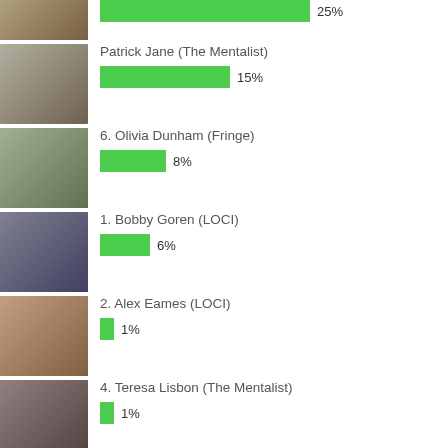[Figure (photo): Partial photo of a person at top, cropped]
[Figure (bar-chart): Poll results bar]
[Figure (photo): Photo of Patrick Jane (The Mentalist) actor smiling]
Patrick Jane (The Mentalist)
[Figure (bar-chart): Poll bar]
[Figure (photo): Photo of Olivia Dunham (Fringe) actress with blonde hair]
6. Olivia Dunham (Fringe)
[Figure (bar-chart): Poll bar]
[Figure (photo): Photo of Bobby Goren (LOCI) actor in suit]
1. Bobby Goren (LOCI)
[Figure (bar-chart): Poll bar]
[Figure (photo): Photo of Alex Eames (LOCI) actress with blonde hair]
2. Alex Eames (LOCI)
[Figure (bar-chart): Poll bar]
[Figure (photo): Photo of Teresa Lisbon (The Mentalist) actress]
4. Teresa Lisbon (The Mentalist)
[Figure (bar-chart): Poll bar]